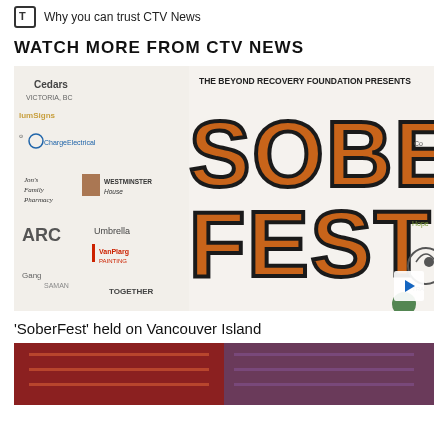Why you can trust CTV News
WATCH MORE FROM CTV NEWS
[Figure (photo): SoberFest banner sign with sponsor logos. Large orange graffiti-style text reading SOBER FEST on a white banner background with various sponsor logos including Cedars, ARC, Jon's Family Pharmacy, Westminster House, Umbrella, VanPlarg Painting, and others. The banner reads 'The Beyond Recovery Foundation Presents'.]
'SoberFest' held on Vancouver Island
[Figure (photo): Partial thumbnail image at bottom of page, appears to show an indoor scene with red lighting.]